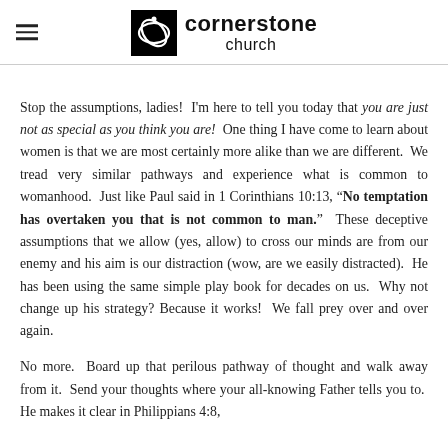cornerstone church
Stop the assumptions, ladies!  I'm here to tell you today that you are just not as special as you think you are!  One thing I have come to learn about women is that we are most certainly more alike than we are different.  We tread very similar pathways and experience what is common to womanhood.  Just like Paul said in 1 Corinthians 10:13, "No temptation has overtaken you that is not common to man."  These deceptive assumptions that we allow (yes, allow) to cross our minds are from our enemy and his aim is our distraction (wow, are we easily distracted).  He has been using the same simple play book for decades on us.  Why not change up his strategy? Because it works!  We fall prey over and over again.
No more.  Board up that perilous pathway of thought and walk away from it.  Send your thoughts where your all-knowing Father tells you to.  He makes it clear in Philippians 4:8,